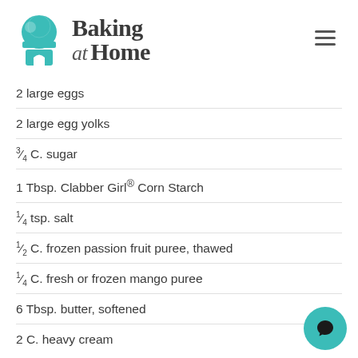[Figure (logo): Baking at Home logo with teal chef hat and text]
2 large eggs
2 large egg yolks
3/4 C. sugar
1 Tbsp. Clabber Girl® Corn Starch
1/4 tsp. salt
1/2 C. frozen passion fruit puree, thawed
1/4 C. fresh or frozen mango puree
6 Tbsp. butter, softened
2 C. heavy cream